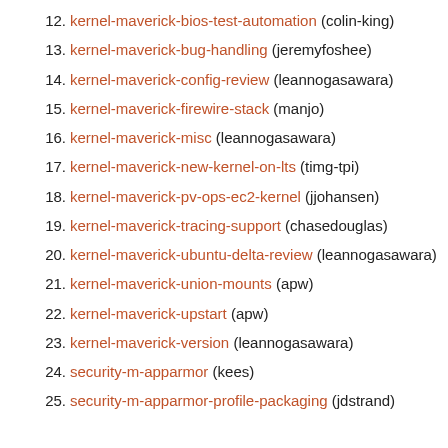12. kernel-maverick-bios-test-automation (colin-king)
13. kernel-maverick-bug-handling (jeremyfoshee)
14. kernel-maverick-config-review (leannogasawara)
15. kernel-maverick-firewire-stack (manjo)
16. kernel-maverick-misc (leannogasawara)
17. kernel-maverick-new-kernel-on-lts (timg-tpi)
18. kernel-maverick-pv-ops-ec2-kernel (jjohansen)
19. kernel-maverick-tracing-support (chasedouglas)
20. kernel-maverick-ubuntu-delta-review (leannogasawara)
21. kernel-maverick-union-mounts (apw)
22. kernel-maverick-upstart (apw)
23. kernel-maverick-version (leannogasawara)
24. security-m-apparmor (kees)
25. security-m-apparmor-profile-packaging (jdstrand)